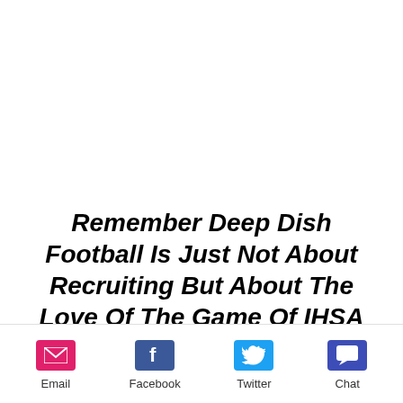Remember Deep Dish Football Is Just Not About Recruiting But About The Love Of The Game Of IHSA Football
RESPECT THE GAME
Email  Facebook  Twitter  Chat